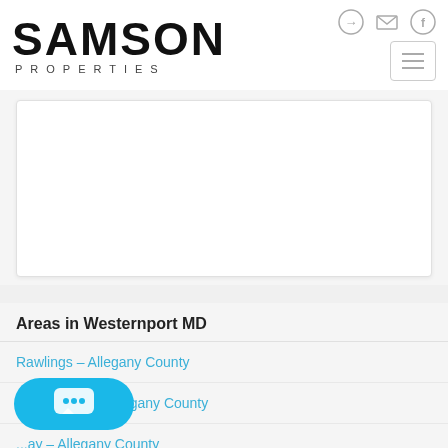[Figure (logo): Samson Properties logo with large SAMSON text and PROPERTIES below in spaced letters]
[Figure (screenshot): Hamburger menu button and social/email icons in header]
[Figure (screenshot): White card area placeholder]
Areas in Westernport MD
Rawlings - Allegany County
SE Allegany - Allegany County
...ay - Allegany County
[Figure (screenshot): Teal chat bubble button with speech/dots icon]